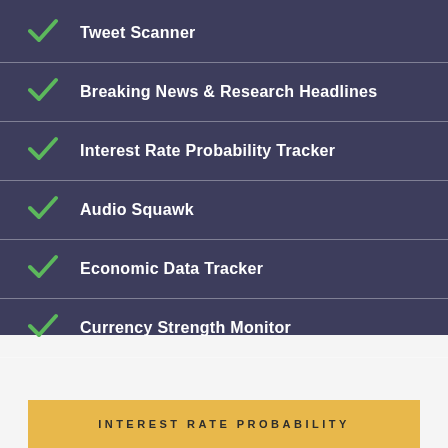Tweet Scanner
Breaking News & Research Headlines
Interest Rate Probability Tracker
Audio Squawk
Economic Data Tracker
Currency Strength Monitor
INTEREST RATE PROBABILITY